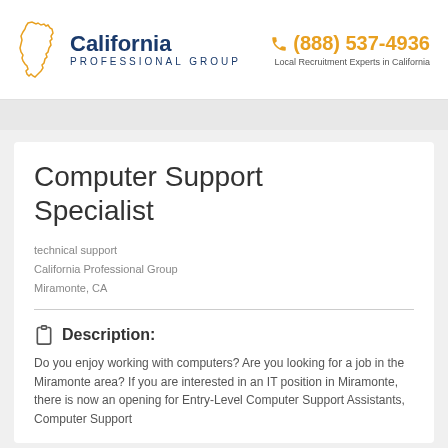[Figure (logo): California Professional Group logo with state shape outline in gold and company name in dark blue]
(888) 537-4936
Local Recruitment Experts in California
Computer Support Specialist
technical support
California Professional Group
Miramonte, CA
Description:
Do you enjoy working with computers? Are you looking for a job in the Miramonte area? If you are interested in an IT position in Miramonte, there is now an opening for Entry-Level Computer Support Assistants, Computer Support